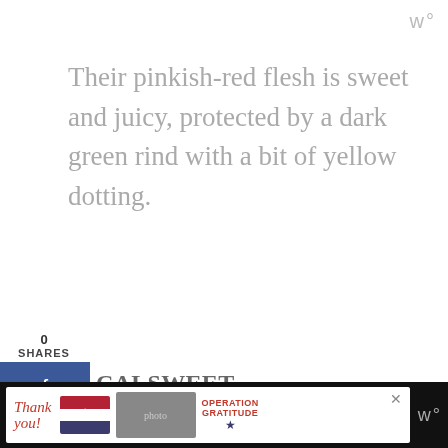w°
Their pinkish-red flesh is sweet and juicy, protected by a dark green rind with a bit of yellow dotting.
0
SHARES
CALSWEET WATERMELON
Unlike the first one, calsweet watermelons come with seeds. They are either oval shaped or round and are more lightweight at only 10 to 12
[Figure (other): Advertisement banner at the bottom: 'Thank you!' with US flag graphic and Operation Gratitude logo, on dark background]